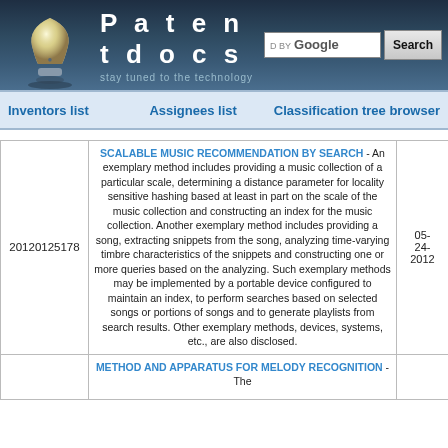[Figure (screenshot): Patentdocs website header with lightbulb logo, site title, subtitle 'stay tuned to the technology', and Google search bar with Search button]
Inventors list    Assignees list    Classification tree browser
| (number) | (description) | (date) |
| --- | --- | --- |
| 20120125178 | SCALABLE MUSIC RECOMMENDATION BY SEARCH - An exemplary method includes providing a music collection of a particular scale, determining a distance parameter for locality sensitive hashing based at least in part on the scale of the music collection and constructing an index for the music collection. Another exemplary method includes providing a song, extracting snippets from the song, analyzing time-varying timbre characteristics of the snippets and constructing one or more queries based on the analyzing. Such exemplary methods may be implemented by a portable device configured to maintain an index, to perform searches based on selected songs or portions of songs and to generate playlists from search results. Other exemplary methods, devices, systems, etc., are also disclosed. | 05-24-2012 |
|  | METHOD AND APPARATUS FOR MELODY RECOGNITION - The ... |  |